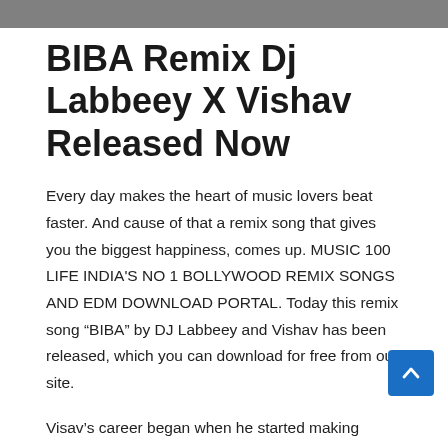BIBA Remix Dj Labbeey X Vishav Released Now
Every day makes the heart of music lovers beat faster. And cause of that a remix song that gives you the biggest happiness, comes up. MUSIC 100 LIFE INDIA’S NO 1 BOLLYWOOD REMIX SONGS AND EDM DOWNLOAD PORTAL. Today this remix song “BIBA” by DJ Labbeey and Vishav has been released, which you can download for free from our site.
Visav’s career began when he started making remixes of popular songs and posting them online. His talent was quickly recognized by the music industry, and he was soon signed to a record label. Since then, Visav has released several successful singles and albums, including his most recent album, “BIBA.”
The release of “BIBA” is sure to send shockwaves through the